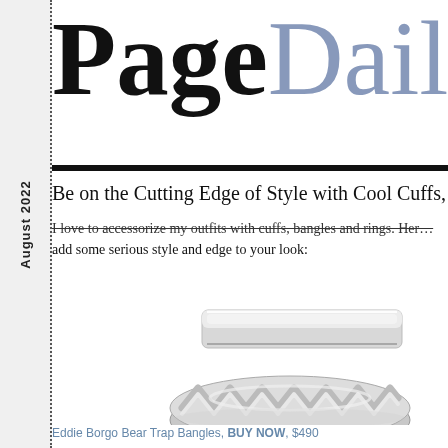August 2022
PageDaily
Be on the Cutting Edge of Style with Cool Cuffs, B...
I love to accessorize my outfits with cuffs, bangles and rings. Her... add some serious style and edge to your look:
[Figure (photo): Silver zigzag/bear trap style bangles stacked, Eddie Borgo Bear Trap Bangles]
Eddie Borgo Bear Trap Bangles, BUY NOW, $490